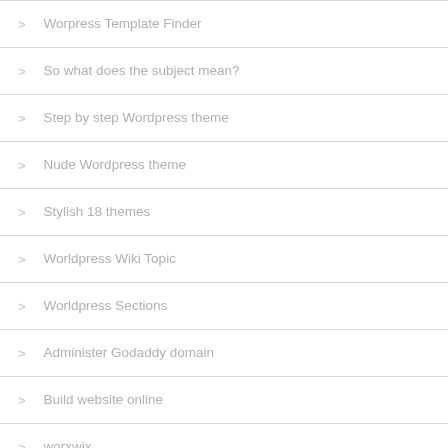Worpress Template Finder
So what does the subject mean?
Step by step Wordpress theme
Nude Wordpress theme
Stylish 18 themes
Worldpress Wiki Topic
Worldpress Sections
Administer Godaddy domain
Build website online
worxwix
subscription Weebly
Wordpress Themeforest Plugin for Wordpress
Launcher Ios 9
&lt;font color="#ffff00"&gt;-==- proudly presents
Mimyx